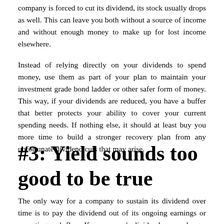company is forced to cut its dividend, its stock usually drops as well. This can leave you both without a source of income and without enough money to make up for lost income elsewhere.
Instead of relying directly on your dividends to spend money, use them as part of your plan to maintain your investment grade bond ladder or other safer form of money. This way, if your dividends are reduced, you have a buffer that better protects your ability to cover your current spending needs. If nothing else, it should at least buy you more time to build a stronger recovery plan from any unfortunate dividend cuts that may arise.
#3: Yield sounds too good to be true
The only way for a company to sustain its dividend over time is to pay the dividend out of its ongoing earnings or operating cash flow. If a company's dividend can no longer be sustainably sustained, its stock tends to lose a little in anticipation of a probable future drop in the dividend...